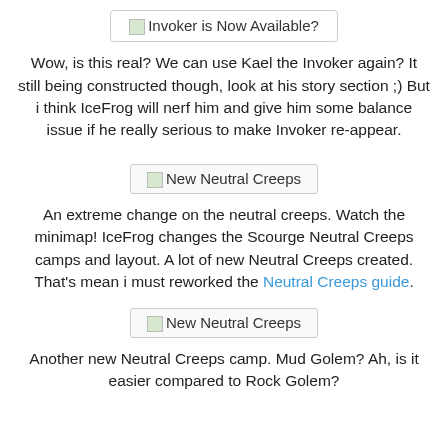Invoker is Now Available?
Wow, is this real? We can use Kael the Invoker again? It still being constructed though, look at his story section ;) But i think IceFrog will nerf him and give him some balance issue if he really serious to make Invoker re-appear.
[Figure (other): Image labeled 'New Neutral Creeps']
An extreme change on the neutral creeps. Watch the minimap! IceFrog changes the Scourge Neutral Creeps camps and layout. A lot of new Neutral Creeps created. That's mean i must reworked the Neutral Creeps guide.
[Figure (other): Image labeled 'New Neutral Creeps']
Another new Neutral Creeps camp. Mud Golem? Ah, is it easier compared to Rock Golem?